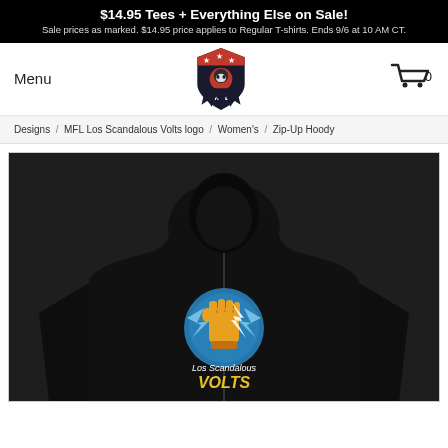$14.95 Tees + Everything Else on Sale! Sale prices as marked. $14.95 price applies to Regular T-shirts. Ends 9/6 at 10 AM CT.
Menu
[Figure (logo): MFL logo — shield with skull wearing football helmet, stars, red and dark colors]
[Figure (other): Shopping cart icon with count 0]
Designs / MFL Los Scandalous Volts logo / Women's / Zip-Up Hoody
[Figure (photo): Black women's zip-up hoody shown from the back, featuring the Los Scandalous Volts logo — a raised golden fist holding a lightning bolt inside a blue circle, with text 'Los Scandalous VOLTS' below]